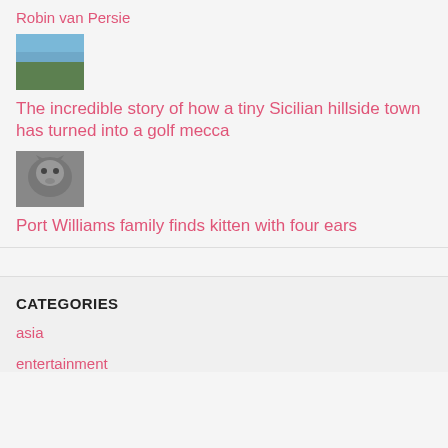Robin van Persie
[Figure (photo): Thumbnail of a coastal landscape with water and green hillside]
The incredible story of how a tiny Sicilian hillside town has turned into a golf mecca
[Figure (photo): Thumbnail of a grey cat looking upward]
Port Williams family finds kitten with four ears
CATEGORIES
asia
entertainment